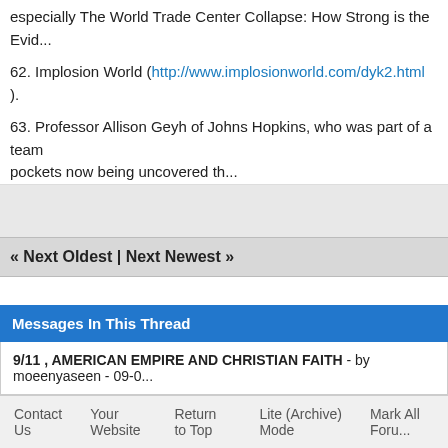especially The World Trade Center Collapse: How Strong is the Evid...
62. Implosion World ( http://www.implosionworld.com/dyk2.html ).
63. Professor Allison Geyh of Johns Hopkins, who was part of a team pockets now being uncovered th...
« Next Oldest | Next Newest »
Messages In This Thread
9/11 , AMERICAN EMPIRE AND CHRISTIAN FAITH - by moeenyaseen - 09-0...
View a Printable Version
Users browsing this thread: 1 Guest(s)
Contact Us   Your Website   Return to Top   Lite (Archive) Mode   Mark All Foru...